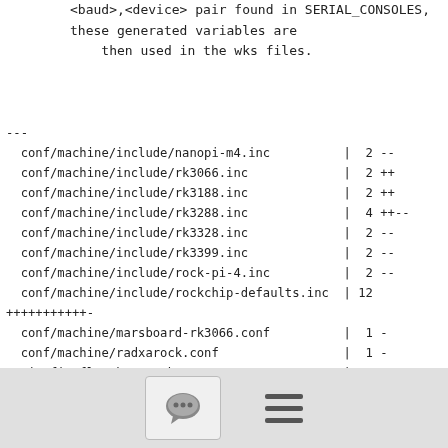<baud>,<device> pair found in SERIAL_CONSOLES, these generated variables are
    then used in the wks files.
---
  conf/machine/include/nanopi-m4.inc          |  2 --
  conf/machine/include/rk3066.inc             |  2 ++
  conf/machine/include/rk3188.inc             |  2 ++
  conf/machine/include/rk3288.inc             |  4 ++--
  conf/machine/include/rk3328.inc             |  2 --
  conf/machine/include/rk3399.inc             |  2 --
  conf/machine/include/rock-pi-4.inc          |  2 --
  conf/machine/include/rockchip-defaults.inc  | 12
++++++++++-
  conf/machine/marsboard-rk3066.conf          |  1 -
  conf/machine/radxarock.conf                 |  1 -
  wic/firefly-rk3288.wks                      |  2 +-
  wic/rock-pi-4.wks                           |  2 +-
  wic/rock-pi-e.wks                           |  2 +-
  wic/tinker-board.wks                        |  2 +-
[Figure (other): Footer bar with chat bubble icon button and hamburger menu icon]